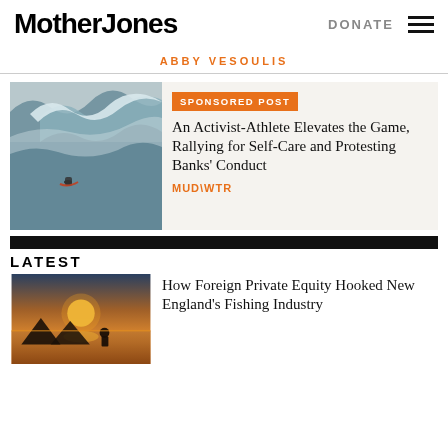Mother Jones
DONATE
ABBY VESOULIS
SPONSORED POST
An Activist-Athlete Elevates the Game, Rallying for Self-Care and Protesting Banks' Conduct
MUD\WTR
LATEST
How Foreign Private Equity Hooked New England's Fishing Industry